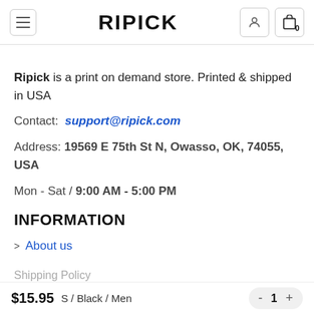RIPICK
Ripick is a print on demand store. Printed & shipped in USA
Contact: support@ripick.com
Address: 19569 E 75th St N, Owasso, OK, 74055, USA
Mon - Sat / 9:00 AM - 5:00 PM
INFORMATION
About us
$15.95  S / Black / Men  - 1 +